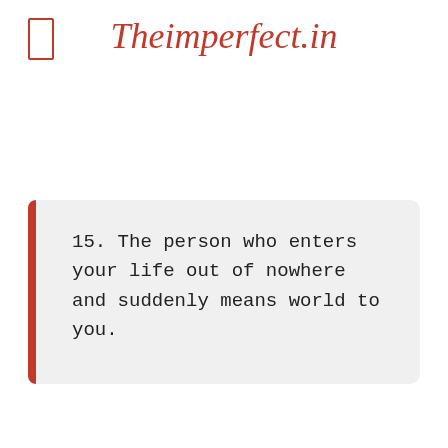Theimperfect.in
15. The person who enters your life out of nowhere and suddenly means world to you.